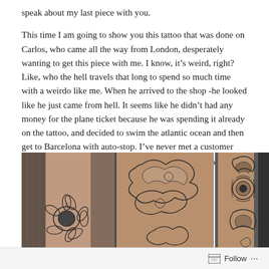speak about my last piece with you.
This time I am going to show you this tattoo that was done on Carlos, who came all the way from London, desperately wanting to get this piece with me. I know, it’s weird, right? Like, who the hell travels that long to spend so much time with a weirdo like me. When he arrived to the shop -he looked like he just came from hell. It seems like he didn’t had any money for the plane ticket because he was spending it already on the tattoo, and decided to swim the atlantic ocean and then get to Barcelona with auto-stop. I’ve never met a customer that is that mad before (and also a bit creepy) Anyway, here is the result:
[Figure (photo): Three photos of a tattoo on a person's arm/leg. The left two panels show a detailed tattoo featuring a sunflower and decorative swirling cloud motifs in black and grey on skin, with dark fabric in the background. The right panel shows another part of the tattoo with ornate lace-like and swirling design elements.]